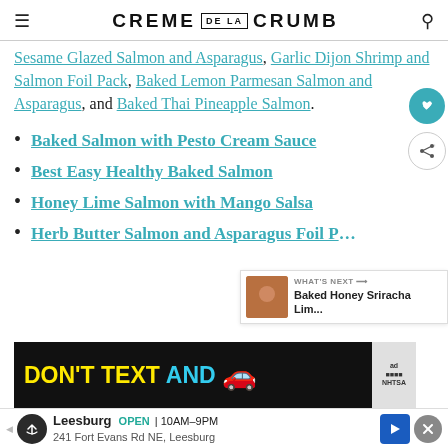CREME DE LA CRUMB
Sesame Glazed Salmon and Asparagus, Garlic Dijon Shrimp and Salmon Foil Pack, Baked Lemon Parmesan Salmon and Asparagus, and Baked Thai Pineapple Salmon.
Baked Salmon with Pesto Cream Sauce
Best Easy Healthy Baked Salmon
Honey Lime Salmon with Mango Salsa
Herb Butter Salmon and Asparagus Foil Packs
[Figure (screenshot): DON'T TEXT AND [car emoji] advertisement banner (NHTSA)]
[Figure (screenshot): Leesburg OPEN 10AM-9PM, 241 Fort Evans Rd NE, Leesburg — bottom ad bar with navigation icon]